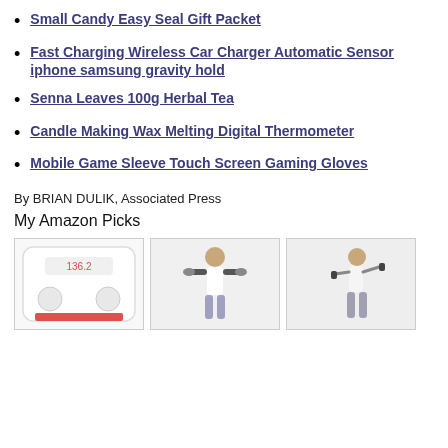Small Candy Easy Seal Gift Packet
Fast Charging Wireless Car Charger Automatic Sensor iphone samsung gravity hold
Senna Leaves 100g Herbal Tea
Candle Making Wax Melting Digital Thermometer
Mobile Game Sleeve Touch Screen Gaming Gloves
By BRIAN DULIK, Associated Press
My Amazon Picks
[Figure (photo): Three product images side by side: a digital scale, a woman using exercise equipment, and a woman using resistance bands]
[Figure (photo): Three product images side by side: a digital scale, a woman using exercise equipment, and a woman using resistance bands]